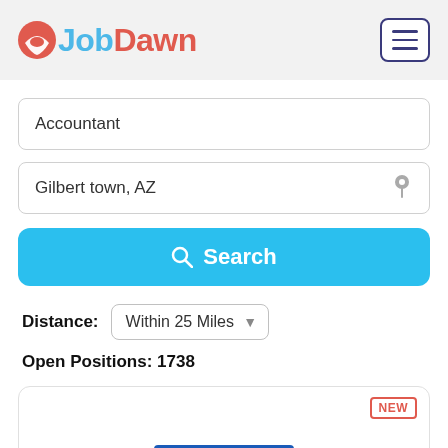JobDawn
Accountant
Gilbert town, AZ
Search
Distance: Within 25 Miles
Open Positions: 1738
[Figure (screenshot): Job listing card with NEW badge and blue bar at bottom]